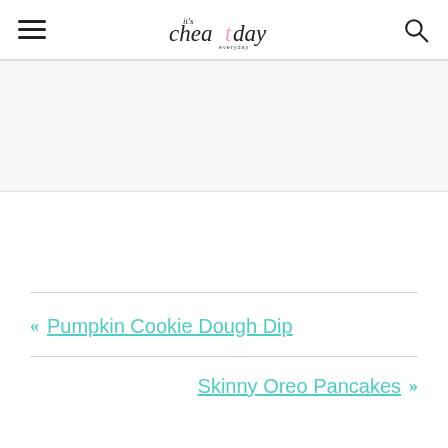It's Cheat Day Everyday (logo)
[Figure (other): Advertisement / placeholder block 1 (light gray background)]
[Figure (other): Advertisement / placeholder block 2 (white background)]
« Pumpkin Cookie Dough Dip
Skinny Oreo Pancakes »